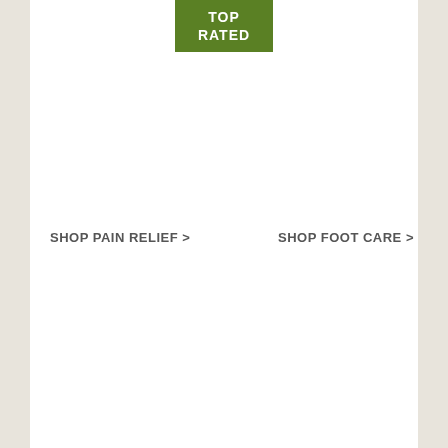[Figure (other): Green 'TOP RATED' badge/label centered near top of page]
SHOP PAIN RELIEF >
SHOP FOOT CARE >